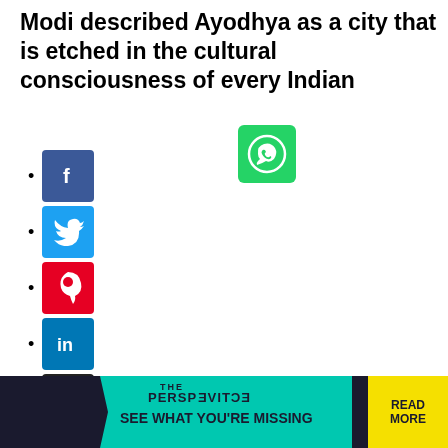Modi described Ayodhya as a city that is etched in the cultural consciousness of every Indian
[Figure (logo): WhatsApp share icon — green square with white WhatsApp logo]
Facebook share icon — blue square with white F
Twitter share icon — blue square with white bird
Pinterest share icon — red square with white P
LinkedIn share icon — blue square with white 'in'
Email share icon — black square with envelope
[Figure (logo): Facebook Messenger share icon — blue square with white messenger lightning bolt]
[Figure (photo): Author headshot photo of Anand Mishra]
Anand Mishra, DHNS, New Delhi,
- Jun 26 2021, 14:28 ist
[Figure (infographic): THE PERSPECTIVE advertisement banner: dark background, teal accent, text 'SEE WHAT YOU'RE MISSING', yellow READ MORE button]